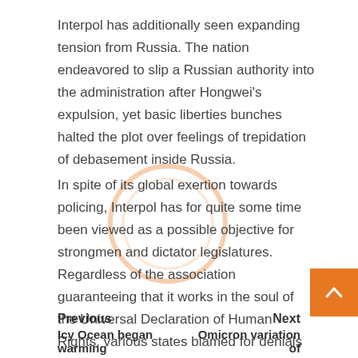Interpol has additionally seen expanding tension from Russia. The nation endeavored to slip a Russian authority into the administration after Hongwei's expulsion, yet basic liberties bunches halted the plot over feelings of trepidation of debasement inside Russia.
In spite of its global exertion towards policing, Interpol has for quite some time been viewed as a possible objective for strongmen and dictator legislatures. Regardless of the association guaranteeing that it works in the soul of the Universal Declaration of Human Rights, various states blamed for denials of basic freedoms are presently individuals from Interpol
Previous | Next | Icy Ocean began warming | Omicron variation of